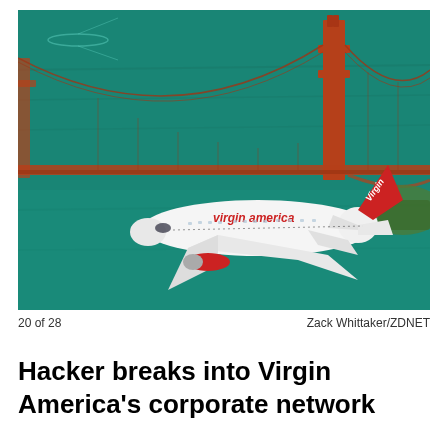[Figure (photo): Aerial photograph of a Virgin America airplane (white body with red 'virgin america' lettering and red tail fin with 'Virgin' logo) flying over the San Francisco Bay with the Golden Gate Bridge visible in the background. The water is a deep teal/green color.]
20 of 28	Zack Whittaker/ZDNET
Hacker breaks into Virgin America's corporate network